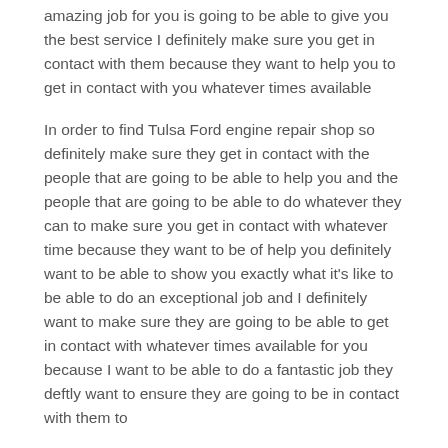amazing job for you is going to be able to give you the best service I definitely make sure you get in contact with them because they want to help you to get in contact with you whatever times available
In order to find Tulsa Ford engine repair shop so definitely make sure they get in contact with the people that are going to be able to help you and the people that are going to be able to do whatever they can to make sure you get in contact with whatever time because they want to be of help you definitely want to be able to show you exactly what it's like to be able to do an exceptional job and I definitely want to make sure they are going to be able to get in contact with whatever times available for you because I want to be able to do a fantastic job they deftly want to ensure they are going to be in contact with them to
Is not getting contact with people that are going to be able to do a brilliant job. People are going to be able to